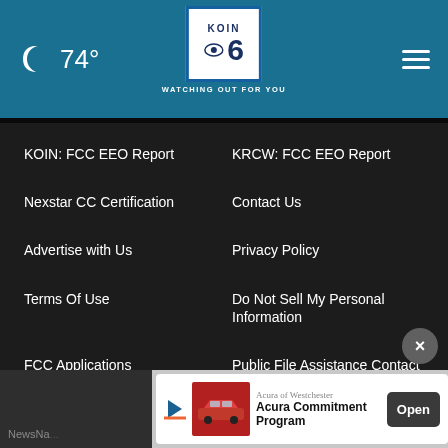74° KOIN 6 CBS WATCHING OUT FOR YOU
KOIN: FCC EEO Report
KRCW: FCC EEO Report
Nexstar CC Certification
Contact Us
Advertise with Us
Privacy Policy
Terms Of Use
Do Not Sell My Personal Information
FCC Applications
Public File Assistance Contact
The Hill
NewsNation
[Figure (infographic): Advertisement banner: Acura of Westchester - Acura Commitment Program with Open button and red car image]